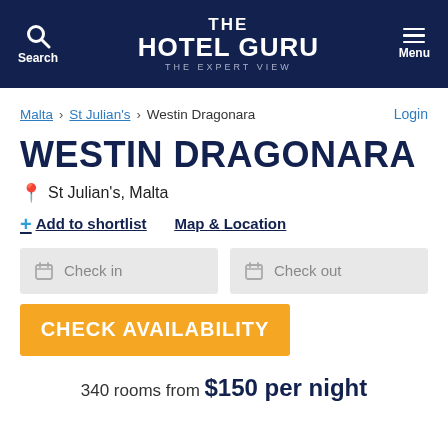THE HOTEL GURU — THE EXPERT VIEW
Malta > St Julian's > Westin Dragonara
WESTIN DRAGONARA
St Julian's, Malta
+ Add to shortlist   Map & Location
Check in   Check out
CHECK AVAILABILITY
340 rooms from $150 per night